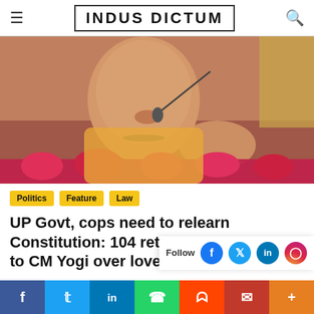INDUS DICTUM
[Figure (photo): A man in saffron/orange robes speaking at a microphone, with pink flowers in the foreground and a reddish-pink background]
Politics
Feature
Law
UP Govt, cops need to relearn Constitution: 104 retd bureaucrats write to CM Yogi over love